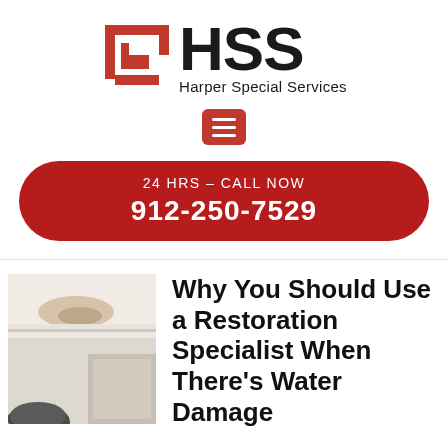[Figure (logo): HSS Harper Special Services logo with red geometric icon and black HSS text]
[Figure (other): Red square hamburger menu button with three white horizontal lines]
24 HRS – CALL NOW
912-250-7529
[Figure (photo): Interior room photo showing water damage stain on ceiling near crown molding]
Why You Should Use a Restoration Specialist When There's Water Damage